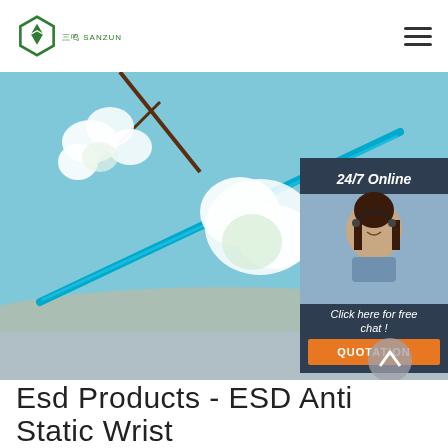SANZUN logo and hamburger menu
[Figure (photo): Hero banner image showing a blue ESD tweezer tool against a light blue background with white cherry blossoms and a circular magnified view. A customer service representative (woman with headset, smiling) is shown in a panel on the right side with '24/7 Online' header, 'Click here for free chat!' text, and an orange QUOTATION button. A back-to-top arrow button is visible at lower right.]
Esd Products - ESD Anti Static Wrist